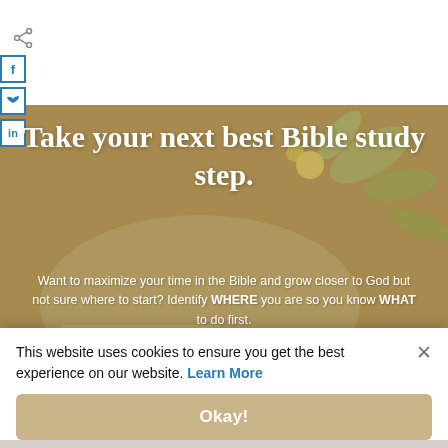[Figure (screenshot): Share icon at top left of page, gray arrow symbol]
[Figure (screenshot): Social media sidebar buttons on left edge: Facebook (f), Twitter (bird/t), LinkedIn (in) with blue outlines]
[Figure (photo): Hero section with tan/golden background simulating a Bible study scene with leaves and open book, muted overlay]
Take your next best Bible study step.
Want to maximize your time in the Bible and grow closer to God but not sure where to start? Identify WHERE you are so you know WHAT to do first.
This website uses cookies to ensure you get the best experience on our website. Learn More
Okay!